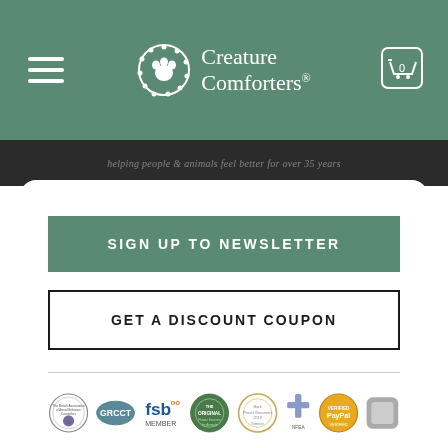Creature Comforters
Helping people & animals feel better for over 35 years
SIGN UP TO NEWSLETTER
GET A DISCOUNT COUPON
[Figure (logo): Row of certification and membership badges: British Association, GRCCT, FSB Member, The Original, Bark Planet Groomers, NFEA, Verified PayPal, and one more badge]